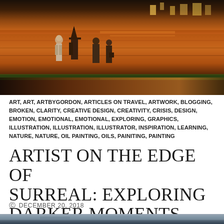[Figure (photo): Oil painting showing silhouetted figures walking along a wall or embankment at dusk/night, with warm orange and brown tones. One figure appears to wear a witch hat. Background shows illuminated buildings.]
ART, ART, ARTBYGORDON, ARTICLES ON TRAVEL, ARTWORK, BLOGGING, BROKEN, CLARITY, CREATIVE DESIGN, CREATIVITY, CRISIS, DESIGN, EMOTION, EMOTIONAL, EMOTIONAL, EXPLORING, GRAPHICS, ILLUSTRATION, ILLUSTRATION, ILLUSTRATOR, INSPIRATION, LEARNING, NATURE, NATURE, OIL PAINTING, OILS, PAINITING, PAINTING
ARTIST ON THE EDGE OF SURREAL: EXPLORING DARKER MOMENTS
DECEMBER 20, 2018
[Figure (photo): Dark moody photograph partially visible at bottom of page, showing a stormy sky and landscape.]